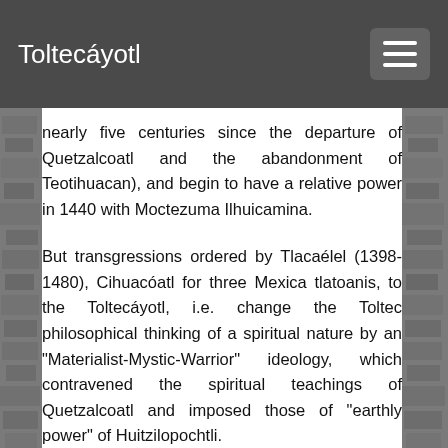Toltecáyotl
nearly five centuries since the departure of Quetzalcoatl and the abandonment of Teotihuacan), and begin to have a relative power in 1440 with Moctezuma Ilhuicamina.
But transgressions ordered by Tlacaélel (1398-1480), Cihuacóatl for three Mexica tlatoanis, to the Toltecáyotl, i.e. change the Toltec philosophical thinking of a spiritual nature by an "Materialist-Mystic-Warrior" ideology, which contravened the spiritual teachings of Quetzalcoatl and imposed those of "earthly power" of Huitzilopochtli.
This tutelary numen was a religious figure created by the Mexican culture in the Postclassic period, long before their arrival in the Central Highlands, does not belong to the ancient Toltec lineage that produced...